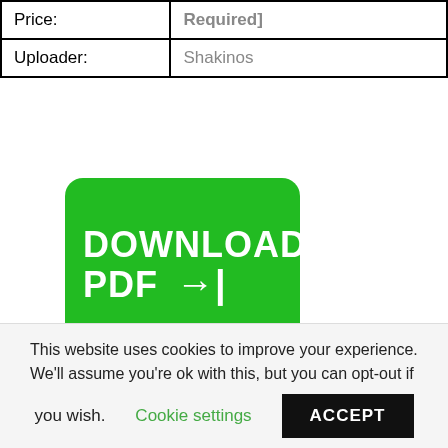|  |  |
| --- | --- |
| Price: | [Required] |
| Uploader: | Shakinos |
[Figure (other): Green download button with text 'DOWNLOAD PDF' and a right-arrow icon]
Led by Minier, Bernard. Libraries add bibliographic records to WorldCat representing books and other items in their collections. The next ten...
This website uses cookies to improve your experience. We'll assume you're ok with this, but you can opt-out if you wish. Cookie settings ACCEPT